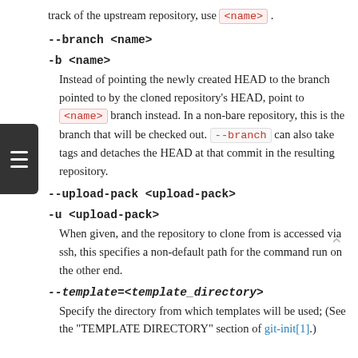track of the upstream repository, use <name>.
--branch <name>
-b <name>
Instead of pointing the newly created HEAD to the branch pointed to by the cloned repository's HEAD, point to <name> branch instead. In a non-bare repository, this is the branch that will be checked out. --branch can also take tags and detaches the HEAD at that commit in the resulting repository.
--upload-pack <upload-pack>
-u <upload-pack>
When given, and the repository to clone from is accessed via ssh, this specifies a non-default path for the command run on the other end.
--template=<template_directory>
Specify the directory from which templates will be used; (See the "TEMPLATE DIRECTORY" section of git-init[1].)